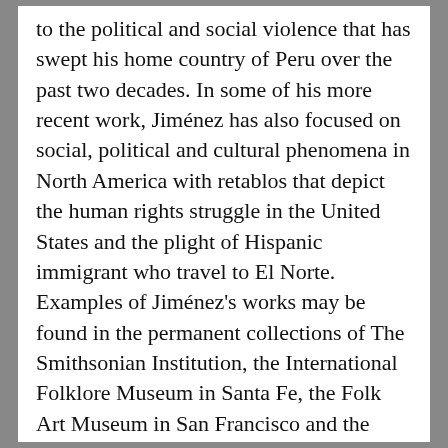to the political and social violence that has swept his home country of Peru over the past two decades. In some of his more recent work, Jiménez has also focused on social, political and cultural phenomena in North America with retablos that depict the human rights struggle in the United States and the plight of Hispanic immigrant who travel to El Norte. Examples of Jiménez's works may be found in the permanent collections of The Smithsonian Institution, the International Folklore Museum in Santa Fe, the Folk Art Museum in San Francisco and the Museum of Man in San Diego. In addition to illustrations of Jimenez's most important works, this volume contains interviews with the artist and essays by historians, art historians and anthropologists specializing in Latin America that describe his fascinating life's journey from Andean peasant to successful artist as